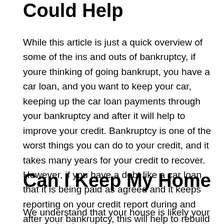Could Help
While this article is just a quick overview of some of the ins and outs of bankruptcy, if youre thinking of going bankrupt, you have a car loan, and you want to keep your car, keeping up the car loan payments through your bankruptcy and after it will help to improve your credit. Bankruptcy is one of the worst things you can do to your credit, and it takes many years for your credit to recover. However, if you have a debt like a car loan that it is being paid as agreed and it keeps reporting on your credit report during and after your bankruptcy, this will help to rebuild your credit more quickly after the bankruptcy.
Can I Keep My Home
We understand that your house is likely your most valued